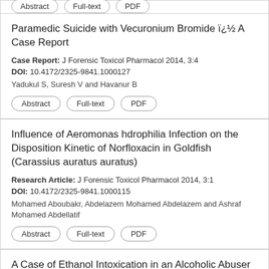[Figure (other): Top strip with three pill-shaped buttons (partially visible at top of page)]
Paramedic Suicide with Vecuronium Bromide ï¿½ A Case Report
Case Report: J Forensic Toxicol Pharmacol 2014, 3:4
DOI: 10.4172/2325-9841.1000127
Yadukul S, Suresh V and Havanur B
Abstract
Full-text
PDF
Influence of Aeromonas hdrophilia Infection on the Disposition Kinetic of Norfloxacin in Goldfish (Carassius auratus auratus)
Research Article: J Forensic Toxicol Pharmacol 2014, 3:1
DOI: 10.4172/2325-9841.1000115
Mohamed Aboubakr, Abdelazem Mohamed Abdelazem and Ashraf Mohamed Abdellatif
Abstract
Full-text
PDF
A Case of Ethanol Intoxication in an Alcoholic Abuser under LongTerm Treatment with GHB